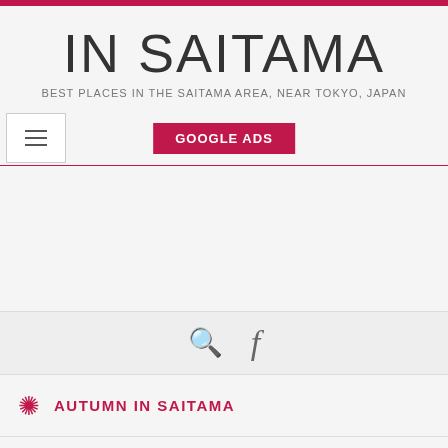IN SAITAMA
BEST PLACES IN THE SAITAMA AREA, NEAR TOKYO, JAPAN
GOOGLE ADS
AUTUMN IN SAITAMA
Sunflowers at Honda No Mori in support of